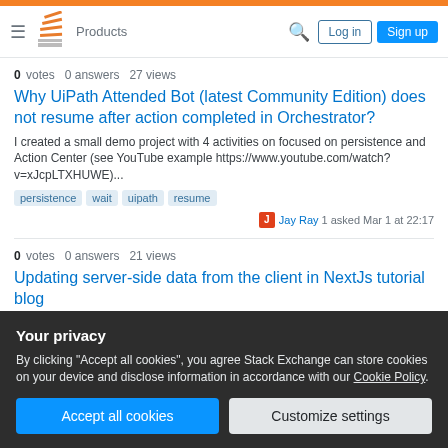Stack Overflow — Products | Log in | Sign up
0 votes  0 answers  27 views
Why UiPath Attended Bot (latest Community Edition) does not resume after action completed in Orchestrator?
I created a small demo project with 4 activities on focused on persistence and Action Center (see YouTube example https://www.youtube.com/watch?v=xJcpLTXHUWE)...
persistence  wait  uipath  resume
J  Jay Ray  1  asked Mar 1 at 22:17
0 votes  0 answers  21 views
Updating server-side data from the client in NextJs tutorial blog
best way to store business data for short time
Your privacy
By clicking "Accept all cookies", you agree Stack Exchange can store cookies on your device and disclose information in accordance with our Cookie Policy.
Accept all cookies  Customize settings